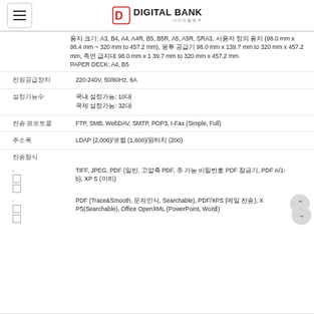DIGITAL BANK
용지 크기: A3, B4, A4, A4R, B5, B5R, A5, A5R, SRA3, 사용자 정의 용지 (98.0 mm x 98.4 mm ~ 320 mm to 457.2 mm), 봉투 공급기 98.0 mm x 139.7 mm to 320 mm x 457.2 mm, 측면 급지대 98.0 mm x 139.7 mm to 320 mm x 457.2 mm
PAPER DECK: A4, B5
전원공급장치: 220-240V, 50/60Hz, 6A
국내 설정가능: 10대
국제 설정가능: 32대
전송 프로토콜: FTP, SMB, WebDAV, SMTP, POP3, I-Fax (Simple, Full)
주소록: LDAP (2,000)/로컬 (1,600)/원터치 (200)
전송형식
TIFF, JPEG, PDF (일반, 고압축 PDF, 추적 가능 비밀번호 PDF 잠금기능, PDF A/1-b), XPS (미리)
PDF (Trace&Smooth, 문자인식, Searchable), PDF/XPS (메일 전송), XPS(Searchable), Office OpenXML (PowerPoint, Word)